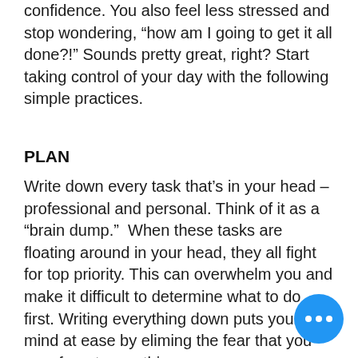confidence. You also feel less stressed and stop wondering, “how am I going to get it all done?!” Sounds pretty great, right? Start taking control of your day with the following simple practices.
PLAN
Write down every task that’s in your head – professional and personal. Think of it as a “brain dump.”  When these tasks are floating around in your head, they all fight for top priority. This can overwhelm you and make it difficult to determine what to do first. Writing everything down puts your mind at ease by eliminating the fear that you may forget something.